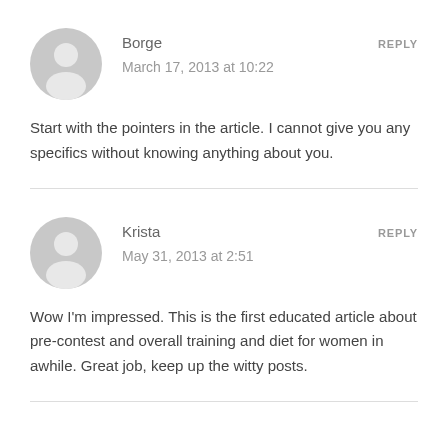Borge
REPLY
March 17, 2013 at 10:22
Start with the pointers in the article. I cannot give you any specifics without knowing anything about you.
Krista
REPLY
May 31, 2013 at 2:51
Wow I'm impressed. This is the first educated article about pre-contest and overall training and diet for women in awhile. Great job, keep up the witty posts.